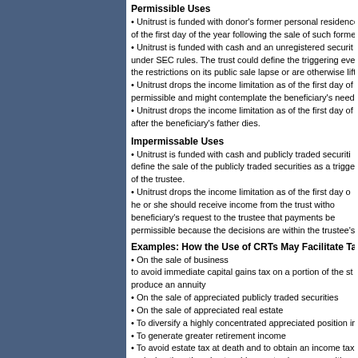Permissible Uses
• Unitrust is funded with donor's former personal residence of the first day of the year following the sale of such former
• Unitrust is funded with cash and an unregistered security under SEC rules. The trust could define the triggering eve the restrictions on its public sale lapse or are otherwise lift
• Unitrust drops the income limitation as of the first day of permissible and might contemplate the beneficiary's need
• Unitrust drops the income limitation as of the first day of after the beneficiary's father dies.
Impermissable Uses
• Unitrust is funded with cash and publicly traded securiti define the sale of the publicly traded securities as a trigge of the trustee.
• Unitrust drops the income limitation as of the first day o he or she should receive income from the trust witho beneficiary's request to the trustee that payments be permissible because the decisions are within the trustee's
Examples: How the Use of CRTs May Facilitate Tax and
• On the sale of business
to avoid immediate capital gains tax on a portion of the st produce an annuity
• On the sale of appreciated publicly traded securities
• On the sale of appreciated real estate
• To diversify a highly concentrated appreciated position in
• To generate greater retirement income
• To avoid estate tax at death and to obtain an income tax replacing the otherwise taxable assets given away with irrevocable life insurance trust
Tax Compliance/Reporting for CRTs
• Tax I.D. numbers must be obtained for CRTs
• All CRTs must be maintained on a calendar year basis